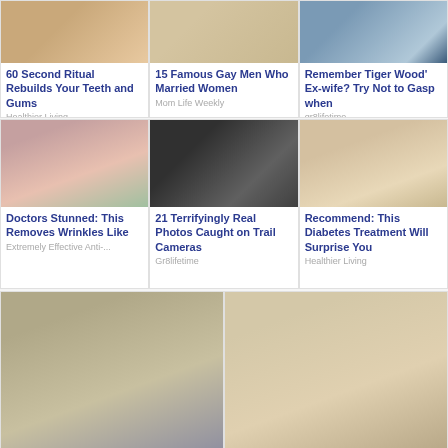[Figure (photo): Close-up of person's face/mouth area]
60 Second Ritual Rebuilds Your Teeth and Gums
Healthier Living
[Figure (photo): Person photo outdoors]
15 Famous Gay Men Who Married Women
Mom Life Weekly
[Figure (photo): Person in suit with others in background]
Remember Tiger Wood' Ex-wife? Try Not to Gasp when
gr8lifetime
[Figure (illustration): Illustrated close-up of woman's face with green eyes and wrinkles]
Doctors Stunned: This Removes Wrinkles Like
Extremely Effective Anti-...
[Figure (photo): Black and white night camera photo of animal]
21 Terrifyingly Real Photos Caught on Trail Cameras
Gr8lifetime
[Figure (photo): Close-up food photo resembling a face]
Recommend: This Diabetes Treatment Will Surprise You
Healthier Living
[Figure (photo): Young person with brown hair, close-up face]
[Figure (photo): Blonde woman close-up face]